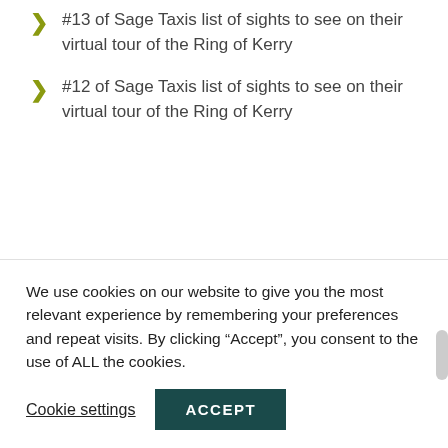#13 of Sage Taxis list of sights to see on their virtual tour of the Ring of Kerry
#12 of Sage Taxis list of sights to see on their virtual tour of the Ring of Kerry
Contact Us
064 770 8005
We use cookies on our website to give you the most relevant experience by remembering your preferences and repeat visits. By clicking “Accept”, you consent to the use of ALL the cookies.
Cookie settings
ACCEPT